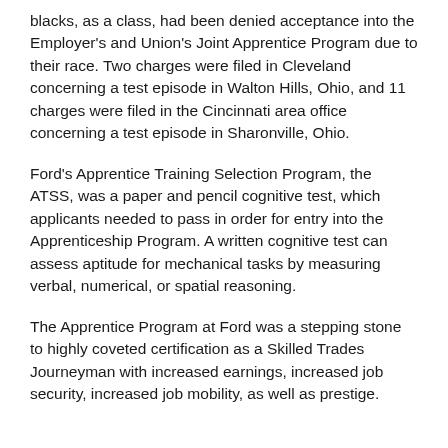blacks, as a class, had been denied acceptance into the Employer's and Union's Joint Apprentice Program due to their race. Two charges were filed in Cleveland concerning a test episode in Walton Hills, Ohio, and 11 charges were filed in the Cincinnati area office concerning a test episode in Sharonville, Ohio.
Ford's Apprentice Training Selection Program, the ATSS, was a paper and pencil cognitive test, which applicants needed to pass in order for entry into the Apprenticeship Program. A written cognitive test can assess aptitude for mechanical tasks by measuring verbal, numerical, or spatial reasoning.
The Apprentice Program at Ford was a stepping stone to highly coveted certification as a Skilled Trades Journeyman with increased earnings, increased job security, increased job mobility, as well as prestige.